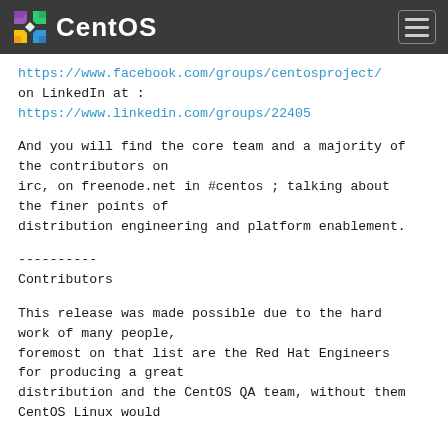CentOS
https://www.facebook.com/groups/centosproject/
on LinkedIn at :
https://www.linkedin.com/groups/22405
And you will find the core team and a majority of the contributors on
irc, on freenode.net in #centos ; talking about the finer points of
distribution engineering and platform enablement.
----------
Contributors
This release was made possible due to the hard work of many people,
foremost on that list are the Red Hat Engineers for producing a great
distribution and the CentOS QA team, without them
CentOS Linux would…